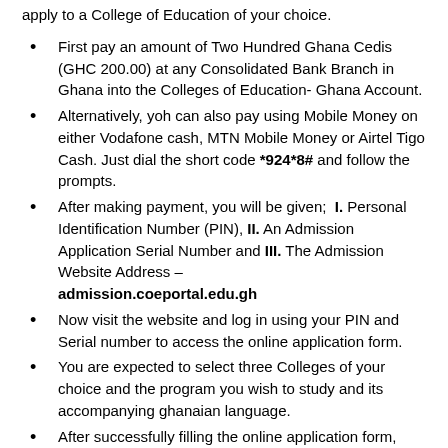apply to a College of Education of your choice.
First pay an amount of Two Hundred Ghana Cedis (GHC 200.00) at any Consolidated Bank Branch in Ghana into the Colleges of Education- Ghana Account.
Alternatively, yoh can also pay using Mobile Money on either Vodafone cash, MTN Mobile Money or Airtel Tigo Cash. Just dial the short code *924*8# and follow the prompts.
After making payment, you will be given; I. Personal Identification Number (PIN), II. An Admission Application Serial Number and III. The Admission Website Address – admission.coeportal.edu.gh
Now visit the website and log in using your PIN and Serial number to access the online application form.
You are expected to select three Colleges of your choice and the program you wish to study and its accompanying ghanaian language.
After successfully filling the online application form, applicants must print a copy of the completed form. It must then be sent with